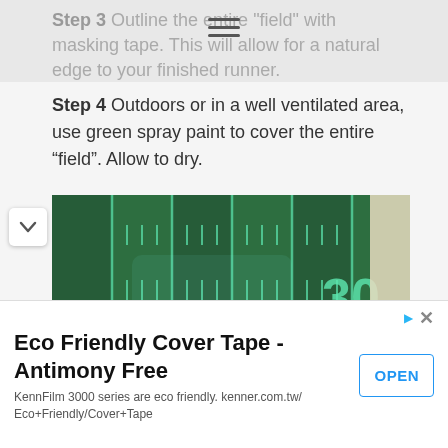Step 3 Outline the entire "field" with masking tape. This will allow for a natural edge to your finished runner.
Step 4 Outdoors or in a well ventilated area, use green spray paint to cover the entire “field”. Allow to dry.
[Figure (photo): Photo of a burlap runner painted with green spray paint to look like a football field, showing yard lines, hash marks, and the number 30. A hand holding a can of spray paint is visible at the bottom right.]
Eco Friendly Cover Tape - Antimony Free
KennFilm 3000 series are eco friendly. kenner.com.tw/Eco+Friendly/Cover+Tape